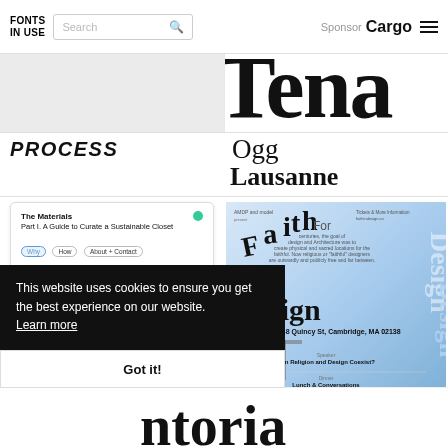FONTS IN USE | Search | Sponsor Cargo
[Figure (screenshot): Partial image strip - left column top, light gray background]
[Figure (screenshot): Partial serif text strip - right column top, large black letterforms on white]
PROCESS
Ogg
Lausanne
[Figure (screenshot): Card: The Materials - Part I. A Guide to Curate a Sustainable Closet, with tags Why, How, About + Contact and green/blue dots]
[Figure (screenshot): Faith in Design poster - March 8, 2019 48 Quincy St, Cambridge MA 02138. Blue gradient background with curved typographic layout.]
This website uses cookies to ensure you get the best experience on our website. Learn more
Got it!
ntoria